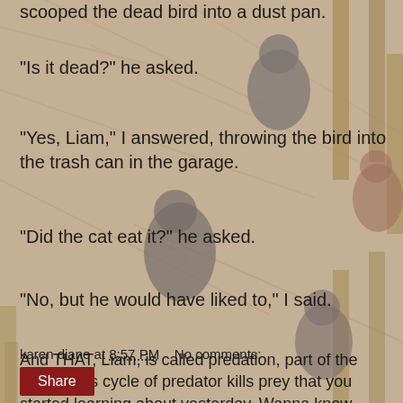scooped the dead bird into a dust pan.
"Is it dead?" he asked.
"Yes, Liam," I answered, throwing the bird into the trash can in the garage.
"Did the cat eat it?" he asked.
"No, but he would have liked to," I said.
And THAT, Liam, is called predation, part of the continuous cycle of predator kills prey that you started learning about yesterday. Wanna know who's gonna kill the cat?!
[Figure (photo): Background photo of chickens in a hay-filled wooden coop, visible behind the overlaid text]
karen diane at 8:57 PM   No comments:
Share